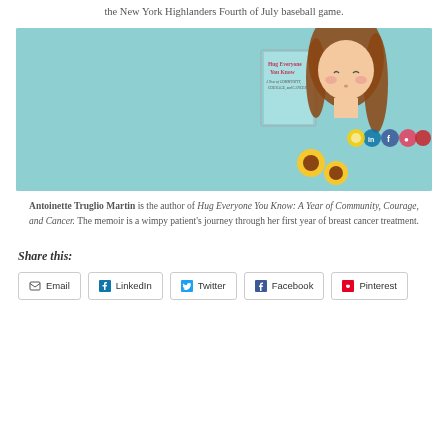the New York Highlanders Fourth of July baseball game.
[Figure (illustration): Book cover banner for 'Hug Everyone You Know: A Year of Community, Courage, and Cancer' by Antoinette Truglio Martin, featuring the book cover and an illustrated woman with long auburn hair holding sunflowers on a teal background.]
Antoinette Truglio Martin is the author of Hug Everyone You Know: A Year of Community, Courage, and Cancer. The memoir is a wimpy patient's journey through her first year of breast cancer treatment.
Share this:
Email LinkedIn Twitter Facebook Pinterest